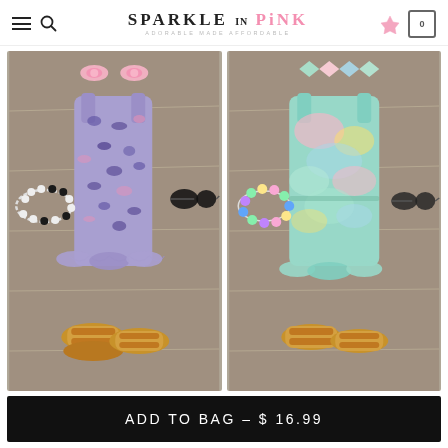SPARKLE IN PINK - ADORABLE MADE AFFORDABLE
[Figure (photo): Two children's romper outfits laid flat on a wooden surface. Left: purple/blue leopard print romper with ruffle hem, pearl necklace, sunglasses, pink bow hair clips, and sandals. Right: pastel tie-dye romper with ruffle hem, colorful bead bracelet, sunglasses, pastel bow hair clips, and sandals.]
ADD TO BAG – $ 16.99